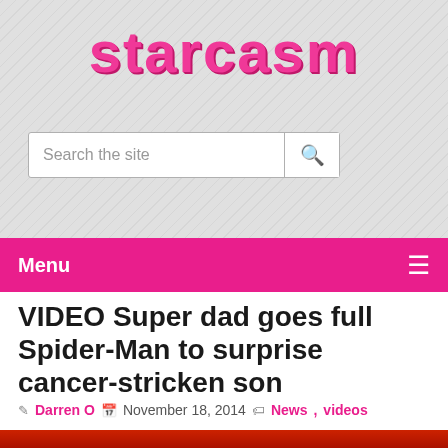starcasm
[Figure (screenshot): Search bar with text 'Search the site' and magnifying glass icon]
Menu
VIDEO Super dad goes full Spider-Man to surprise cancer-stricken son
Darren O  November 18, 2014  News, videos
[Figure (photo): Spider-Man costume photo at bottom of page]